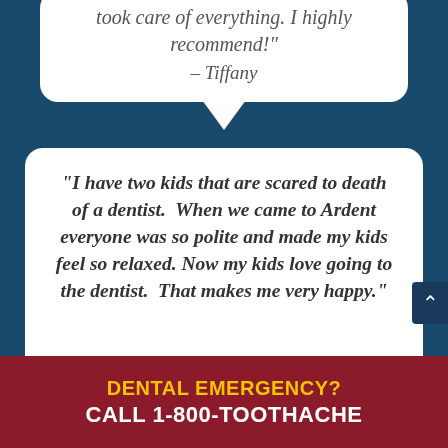took care of everything. I highly recommend!" – Tiffany
"I have two kids that are scared to death of a dentist. When we came to Ardent everyone was so polite and made my kids feel so relaxed. Now my kids love going to the dentist. That makes me very happy."
DENTAL EMERGENCY? CALL 1-800-TOOTHACHE